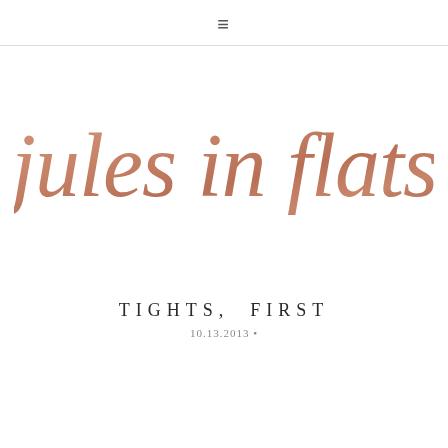≡
[Figure (logo): jules in flats — cursive script logo in rose gold color]
TIGHTS, FIRST
10.13.2013 •